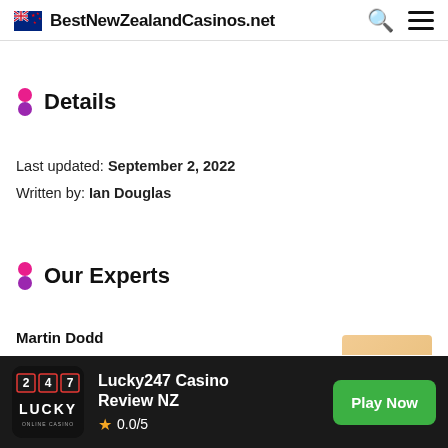BestNewZealandCasinos.net
Details
Last updated: September 2, 2022
Written by: Ian Douglas
Our Experts
Martin Dodd
[Figure (other): Lucky247 Casino logo on dark background]
Lucky247 Casino Review NZ
★ 0.0/5
Play Now